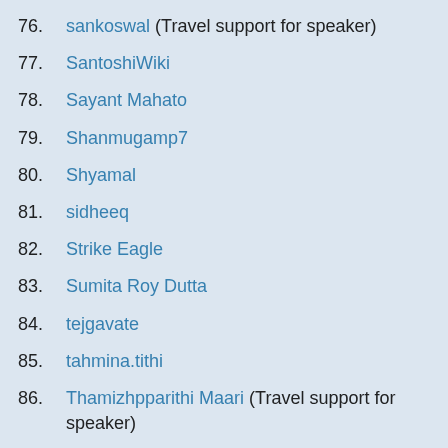76. sankoswal (Travel support for speaker)
77. SantoshiWiki
78. Sayant Mahato
79. Shanmugamp7
80. Shyamal
81. sidheeq
82. Strike Eagle
83. Sumita Roy Dutta
84. tejgavate
85. tahmina.tithi
86. Thamizhpparithi Maari (Travel support for speaker)
87. Th3snehasish